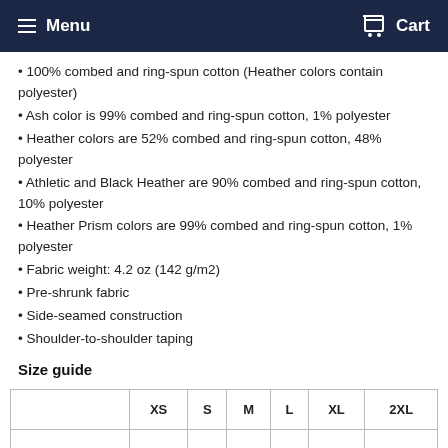Menu   Cart
100% combed and ring-spun cotton (Heather colors contain polyester)
Ash color is 99% combed and ring-spun cotton, 1% polyester
Heather colors are 52% combed and ring-spun cotton, 48% polyester
Athletic and Black Heather are 90% combed and ring-spun cotton, 10% polyester
Heather Prism colors are 99% combed and ring-spun cotton, 1% polyester
Fabric weight: 4.2 oz (142 g/m2)
Pre-shrunk fabric
Side-seamed construction
Shoulder-to-shoulder taping
Size guide
|  | XS | S | M | L | XL | 2XL |
| --- | --- | --- | --- | --- | --- | --- |
| Length |  |  |  |  |  |  |